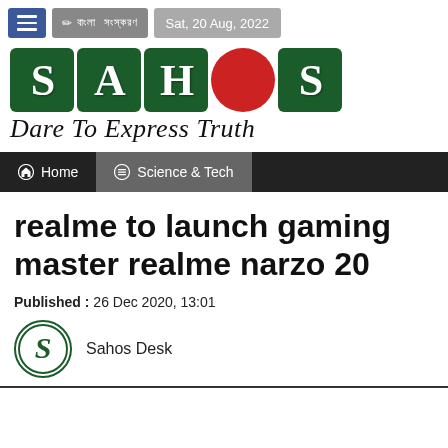Sat, 20 Aug, 2022
[Figure (logo): SAHOS logo with green letter boxes for S, A, H, S and a red circle for O, with tagline 'Dare To Express Truth']
Home | Science & Tech
realme to launch gaming master realme narzo 20
Published : 26 Dec 2020, 13:01
Sahos Desk